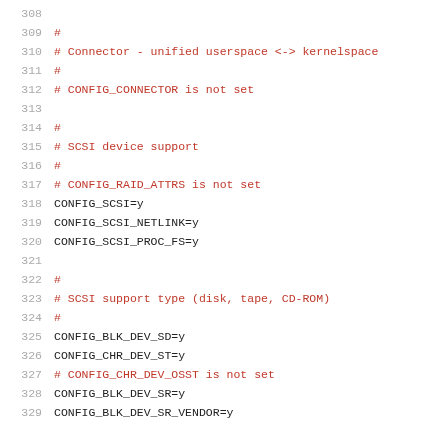308  
309  #
310  # Connector - unified userspace <-> kernelspace
311  #
312  # CONFIG_CONNECTOR is not set
313  
314  #
315  # SCSI device support
316  #
317  # CONFIG_RAID_ATTRS is not set
318  CONFIG_SCSI=y
319  CONFIG_SCSI_NETLINK=y
320  CONFIG_SCSI_PROC_FS=y
321  
322  #
323  # SCSI support type (disk, tape, CD-ROM)
324  #
325  CONFIG_BLK_DEV_SD=y
326  CONFIG_CHR_DEV_ST=y
327  # CONFIG_CHR_DEV_OSST is not set
328  CONFIG_BLK_DEV_SR=y
329  CONFIG_BLK_DEV_SR_VENDOR=y